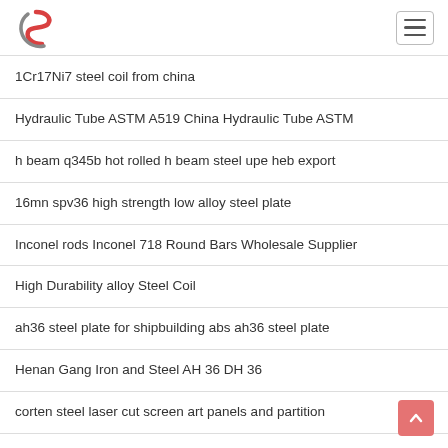Logo and navigation menu
1Cr17Ni7 steel coil from china
Hydraulic Tube ASTM A519 China Hydraulic Tube ASTM
h beam q345b hot rolled h beam steel upe heb export
16mn spv36 high strength low alloy steel plate
Inconel rods Inconel 718 Round Bars Wholesale Supplier
High Durability alloy Steel Coil
ah36 steel plate for shipbuilding abs ah36 steel plate
Henan Gang Iron and Steel AH 36 DH 36
corten steel laser cut screen art panels and partition